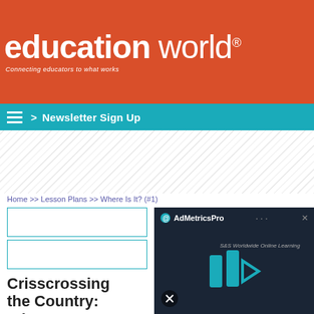[Figure (logo): Education World logo on orange/red banner with tagline 'Connecting educators to what works']
> Newsletter Sign Up
Home >> Lesson Plans >> Where Is It? (#1)
[Figure (screenshot): AdMetricsPro video ad overlay showing S&S Worldwide Online Learning with play button]
Crisscrossing the Country: Where Is It?